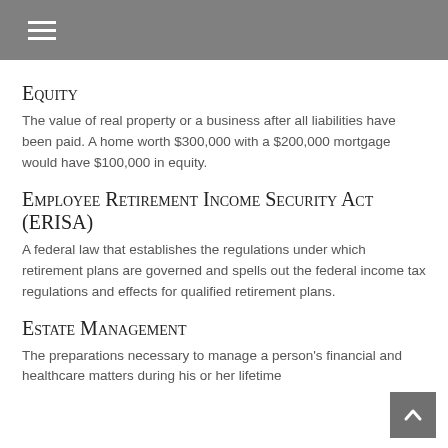Equity
The value of real property or a business after all liabilities have been paid. A home worth $300,000 with a $200,000 mortgage would have $100,000 in equity.
Employee Retirement Income Security Act (ERISA)
A federal law that establishes the regulations under which retirement plans are governed and spells out the federal income tax regulations and effects for qualified retirement plans.
Estate Management
The preparations necessary to manage a person's financial and healthcare matters during his or her lifetime…